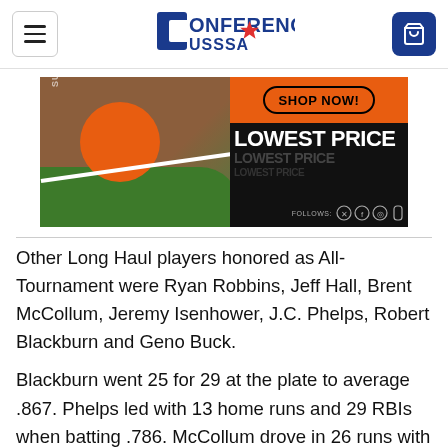Conference USSSA — navigation bar with hamburger menu, logo, and cart button
[Figure (photo): Advertisement banner for Summer Sports showing a baseball field with 'LOWEST PRICE' text and 'SHOP NOW!' button on orange and black background]
Other Long Haul players honored as All-Tournament were Ryan Robbins, Jeff Hall, Brent McCollum, Jeremy Isenhower, J.C. Phelps, Robert Blackburn and Geno Buck.
Blackburn went 25 for 29 at the plate to average .867. Phelps led with 13 home runs and 29 RBIs when batting .786. McCollum drove in 26 runs with 11 homers. Brooklyn Park native Scott Streibel